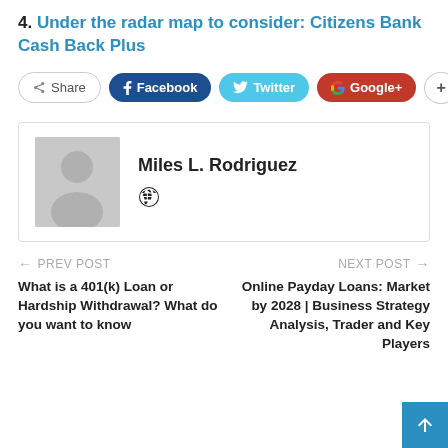4. Under the radar map to consider: Citizens Bank Cash Back Plus
[Figure (infographic): Social share buttons: Share, Facebook, Twitter, Google+, and a plus button]
[Figure (infographic): Author bio box with placeholder avatar image and name Miles L. Rodriguez with a globe/website icon]
PREV POST
What is a 401(k) Loan or Hardship Withdrawal? What do you want to know
NEXT POST
Online Payday Loans: Market by 2028 | Business Strategy Analysis, Trader and Key Players